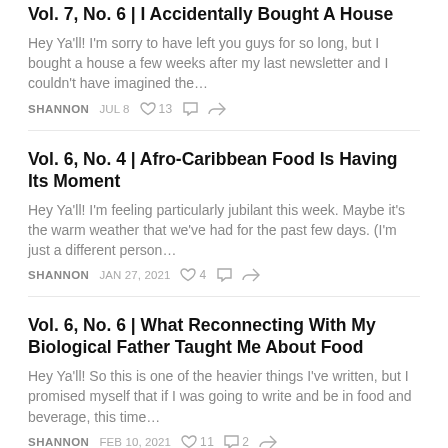Vol. 7, No. 6 | I Accidentally Bought A House
Hey Ya'll! I'm sorry to have left you guys for so long, but I bought a house a few weeks after my last newsletter and I couldn't have imagined the…
SHANNON   JUL 8   ♡ 13
Vol. 6, No. 4 | Afro-Caribbean Food Is Having Its Moment
Hey Ya'll! I'm feeling particularly jubilant this week. Maybe it's the warm weather that we've had for the past few days. (I'm just a different person…
SHANNON   JAN 27, 2021   ♡ 4
Vol. 6, No. 6 | What Reconnecting With My Biological Father Taught Me About Food
Hey Ya'll! So this is one of the heavier things I've written, but I promised myself that if I was going to write and be in food and beverage, this time…
SHANNON   FEB 10, 2021   ♡ 11